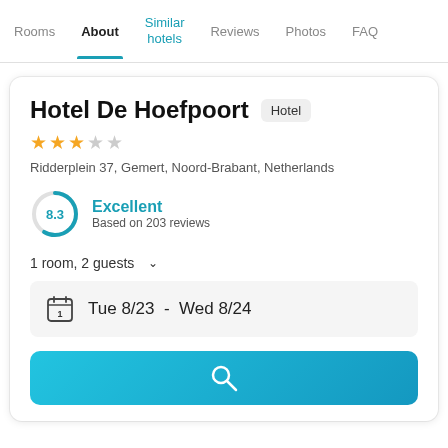Rooms | About | Similar hotels | Reviews | Photos | FAQ
Hotel De Hoefpoort
Hotel
★★★☆☆
Ridderplein 37, Gemert, Noord-Brabant, Netherlands
8.3 Excellent
Based on 203 reviews
1 room, 2 guests
Tue 8/23  -  Wed 8/24